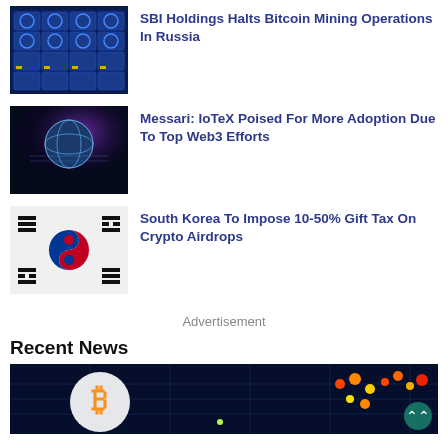[Figure (photo): Bitcoin mining rigs with blue LED lights]
SBI Holdings Halts Bitcoin Mining Operations In Russia
[Figure (photo): Glowing globe with hands in digital background representing IoTeX Web3]
Messari: IoTeX Poised For More Adoption Due To Top Web3 Efforts
[Figure (photo): South Korean flag (Taegukgi)]
South Korea To Impose 10-50% Gift Tax On Crypto Airdrops
Advertisement
Recent News
[Figure (photo): Bitcoin symbol with colorful market data chart in background]